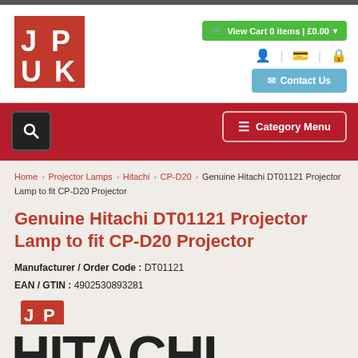[Figure (logo): JPUK logo - red square with white JP UK letters]
View Cart 0 items | £0.00
Contact Us
Category Menu
Home > Projector Lamps > Hitachi > CP-D20 > Genuine Hitachi DT01121 Projector Lamp to fit CP-D20 Projector
Genuine Hitachi DT01121 Projector Lamp to fit CP-D20 Projector
Manufacturer / Order Code : DT01121
EAN / GTIN : 4902530893281
[Figure (logo): Small JPUK logo]
[Figure (photo): Hitachi text/logo partially visible at bottom of page]